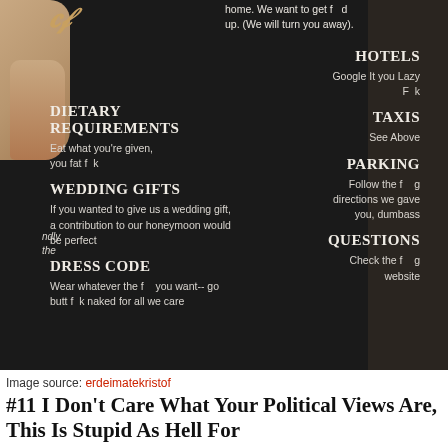[Figure (photo): A hand holding a dark wedding invitation card with humorous/crude text sections including Dietary Requirements, Wedding Gifts, Dress Code on the left column and Hotels, Taxis, Parking, Questions on the right column, all on a dark background.]
Image source: erdeimatekristof
#11 I Don't Care What Your Political Views Are, This Is Stupid As Hell For